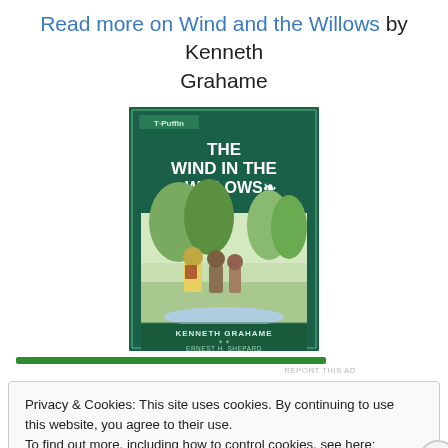Read more on Wind and the Willows by Kenneth Grahame
[Figure (illustration): Book cover of 'The Wind in the Willows' by Kenneth Grahame, illustrated by Ernest H. Shepard. Dark green cover showing the title text and characters walking.]
REPORT THIS AD
Privacy & Cookies: This site uses cookies. By continuing to use this website, you agree to their use.
To find out more, including how to control cookies, see here: Cookie Policy
Close and accept